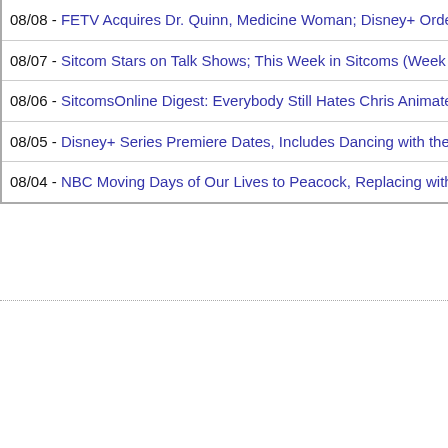08/08 - FETV Acquires Dr. Quinn, Medicine Woman; Disney+ Orders 2nd Se…
08/07 - Sitcom Stars on Talk Shows; This Week in Sitcoms (Week of August…
08/06 - SitcomsOnline Digest: Everybody Still Hates Chris Animated Series…
08/05 - Disney+ Series Premiere Dates, Includes Dancing with the Stars; Ha…
08/04 - NBC Moving Days of Our Lives to Peacock, Replacing with News Sh…